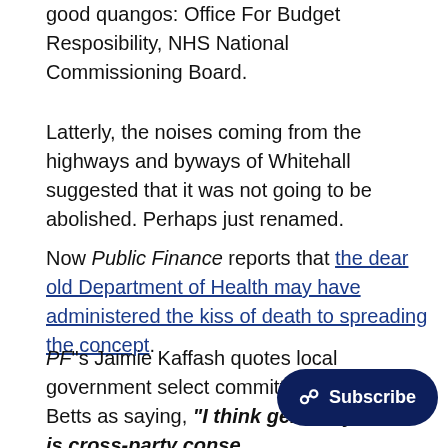good quangos: Office For Budget Resposibility, NHS National Commissioning Board.
Latterly, the noises coming from the highways and byways of Whitehall suggested that it was not going to be abolished. Perhaps just renamed.
Now Public Finance reports that the dear old Department of Health may have administered the kiss of death to spreading the concept.
PF"s Jaimie Kaffash quotes local government select committee chair Clive Betts as saying, "I think generally there is cross-party consensus on trying to get more devolution, more power to local authorities. And I think there is consensus in the DCLG. The problem is, we have not got cross-